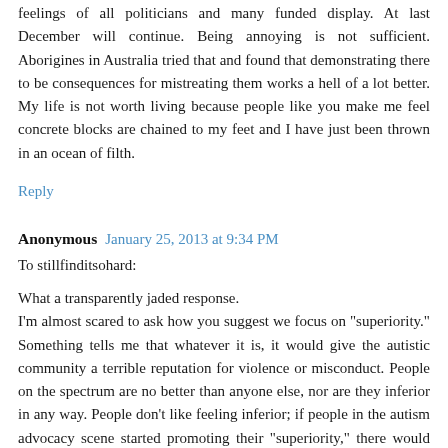feelings of all politicians and many funded display. At last December will continue. Being annoying is not sufficient. Aborigines in Australia tried that and found that demonstrating there to be consequences for mistreating them works a hell of a lot better. My life is not worth living because people like you make me feel concrete blocks are chained to my feet and I have just been thrown in an ocean of filth.
Reply
Anonymous  January 25, 2013 at 9:34 PM
To stillfinditsohard:
What a transparently jaded response.
I'm almost scared to ask how you suggest we focus on "superiority." Something tells me that whatever it is, it would give the autistic community a terrible reputation for violence or misconduct. People on the spectrum are no better than anyone else, nor are they inferior in any way. People don't like feeling inferior; if people in the autism advocacy scene started promoting their "superiority," there would only be MORE resistance we would have to fight to be considered equal.Either you lack a